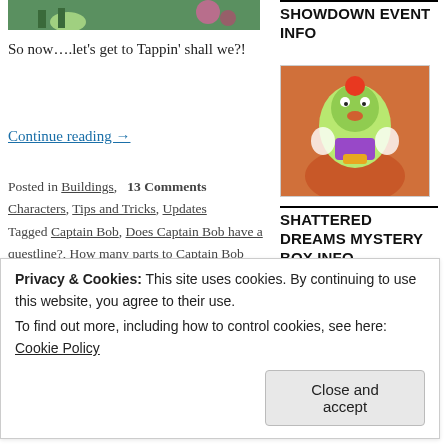[Figure (photo): Screenshot of a game scene with cartoon characters on a green background with flowers]
So now….let's get to Tappin' shall we?!
Continue reading →
Posted in Buildings, 13 Comments Characters, Tips and Tricks, Updates Tagged Captain Bob, Does Captain Bob have a questline?, How many parts to Captain Bob Questline?, Sideshow Bob Skin, Tapped Out Tips and Tricks, The
SHOWDOWN EVENT INFO
[Figure (photo): Cartoon character (Krusty the Clown) on an orange/pink background]
SHATTERED DREAMS MYSTERY BOX INFO
[Figure (photo): A cracked globe/earth cookie graphic on blue and orange background]
Privacy & Cookies: This site uses cookies. By continuing to use this website, you agree to their use. To find out more, including how to control cookies, see here: Cookie Policy
Close and accept
Where Did THAT